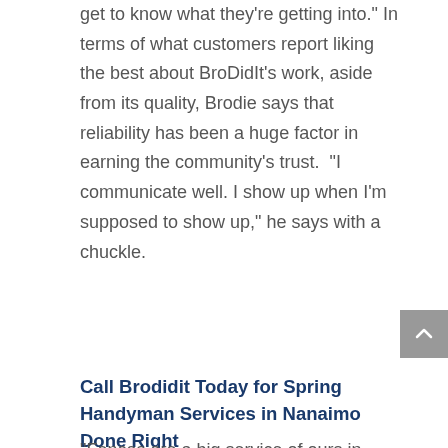get to know what they're getting into." In terms of what customers report liking the best about BroDidIt's work, aside from its quality, Brodie says that reliability has been a huge factor in earning the community's trust. "I communicate well. I show up when I'm supposed to show up," he says with a chuckle.
Call Brodidit Today for Spring Handyman Services in Nanaimo Done Right
"Fences are a big service of ours in